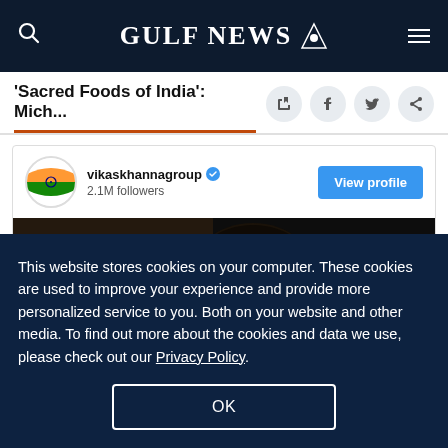GULF NEWS
'Sacred Foods of India': Mich...
[Figure (screenshot): Instagram embed card for vikaskhannagroup with 2.1M followers, View profile button, and a dark photo of a person's face]
This website stores cookies on your computer. These cookies are used to improve your experience and provide more personalized service to you. Both on your website and other media. To find out more about the cookies and data we use, please check out our Privacy Policy.
OK